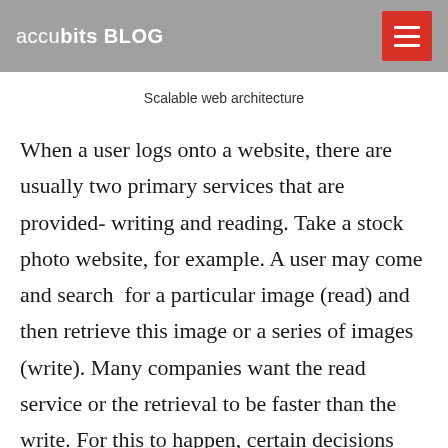accubits BLOG
Scalable web architecture
When a user logs onto a website, there are usually two primary services that are provided- writing and reading. Take a stock photo website, for example. A user may come and search  for a particular image (read) and then retrieve this image or a series of images (write). Many companies want the read service or the retrieval to be faster than the write. For this to happen, certain decisions need to be made while planning for the architecture of your